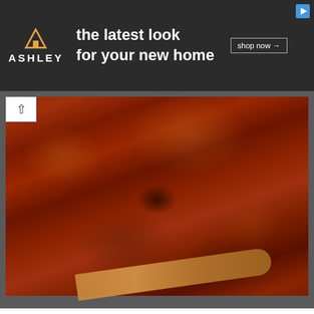[Figure (photo): Ashley Furniture advertisement banner with dark background showing logo and text 'the latest look for your new home' with 'shop now' button]
[Figure (photo): Close-up photo of a dark red/brown meat sauce or bolognese in a large round pot, being stirred with a wooden spoon]
After scraping all the browned bits, let the wine cook for about 5 minutes to burn off the alcohol.
Next, throw in a 28 oz can of crushed tomatoes. I like Tuttorosso Crushed Tomatoes with Basil, which are all natural and have the non-BPA lined can.
I also filled the empty can half full of water and threw that in. Everything got a good stir, the flame was turned down to simmer and the lid was on.